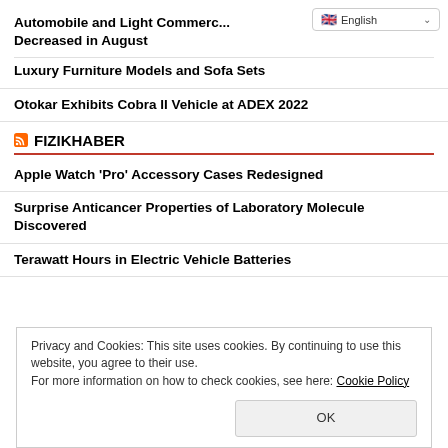Automobile and Light Commercial Vehicle Sales Decreased in August
Luxury Furniture Models and Sofa Sets
Otokar Exhibits Cobra II Vehicle at ADEX 2022
FIZIKHABER
Apple Watch 'Pro' Accessory Cases Redesigned
Surprise Anticancer Properties of Laboratory Molecule Discovered
Terawatt Hours in Electric Vehicle Batteries
Privacy and Cookies: This site uses cookies. By continuing to use this website, you agree to their use.
For more information on how to check cookies, see here: Cookie Policy